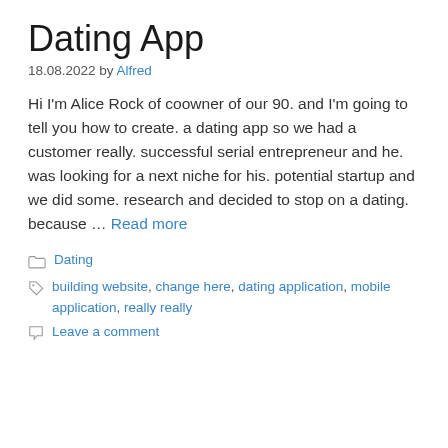Dating App
18.08.2022 by Alfred
Hi I'm Alice Rock of coowner of our 90. and I'm going to tell you how to create. a dating app so we had a customer really. successful serial entrepreneur and he. was looking for a next niche for his. potential startup and we did some. research and decided to stop on a dating. because … Read more
Categories: Dating
Tags: building website, change here, dating application, mobile application, really really
Leave a comment